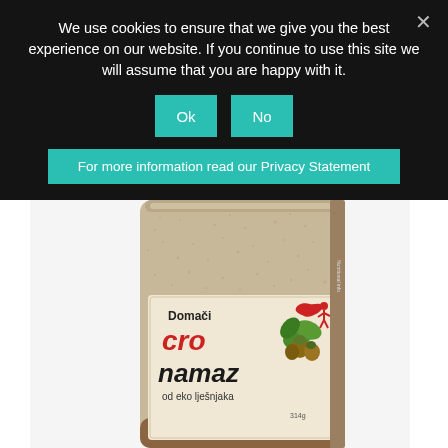We use cookies to ensure that we give you the best experience on our website. If you continue to use this site we will assume that you are happy with it.
Ok
No
For more information read our Privacy Statement
[Figure (photo): A glass jar of Domaći CRO namaz od eko lješnjaka (homemade Croatian hazelnut spread), with a cream-colored label featuring the product name in large stylized lettering, illustrated hazelnuts, and a red Croatian map silhouette. The jar contains a beige/tan grainy spread visible through the glass.]